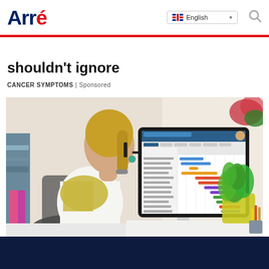Arré | English language selector | Search
shouldn't ignore
CANCER SYMPTOMS | Sponsored
[Figure (photo): Woman seen from behind with blonde hair in ponytail and glasses, yellow scarf, white top, sitting at a desk looking at a large desktop monitor displaying a Gantt chart project management software. A green plant is visible on the right side of the desk.]